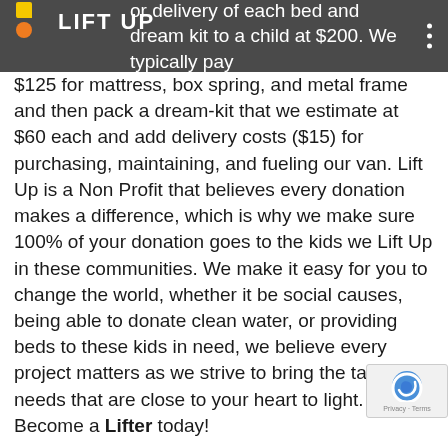LIFT UP
identified as in need of a bed. We estimate the cost for delivery of each bed and dream kit to a child at $200. We typically pay $125 for mattress, box spring, and metal frame and then pack a dream-kit that we estimate at $60 each and add delivery costs ($15) for purchasing, maintaining, and fueling our van. Lift Up is a Non Profit that believes every donation makes a difference, which is why we make sure 100% of your donation goes to the kids we Lift Up in these communities. We make it easy for you to change the world, whether it be social causes, being able to donate clean water, or providing beds to these kids in need, we believe every project matters as we strive to bring the tangible needs that are close to your heart to light. Become a Lifter today!